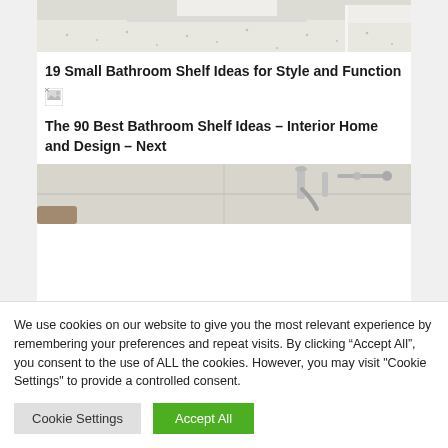[Figure (photo): Top portion of a bathroom interior showing white furniture and speckled/textured floor, partially cropped]
19 Small Bathroom Shelf Ideas for Style and Function
[Figure (photo): Broken/missing image placeholder icon]
The 90 Best Bathroom Shelf Ideas – Interior Home and Design – Next
[Figure (photo): Bathroom counter with chrome faucet fixtures, partially cropped at bottom]
We use cookies on our website to give you the most relevant experience by remembering your preferences and repeat visits. By clicking “Accept All”, you consent to the use of ALL the cookies. However, you may visit "Cookie Settings" to provide a controlled consent.